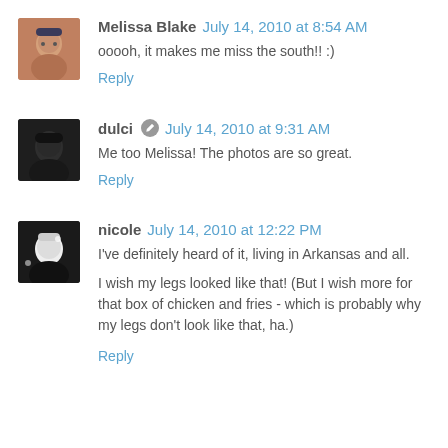Melissa Blake July 14, 2010 at 8:54 AM
ooooh, it makes me miss the south!! :)
Reply
dulci July 14, 2010 at 9:31 AM
Me too Melissa! The photos are so great.
Reply
nicole July 14, 2010 at 12:22 PM
I've definitely heard of it, living in Arkansas and all.
I wish my legs looked like that! (But I wish more for that box of chicken and fries - which is probably why my legs don't look like that, ha.)
Reply